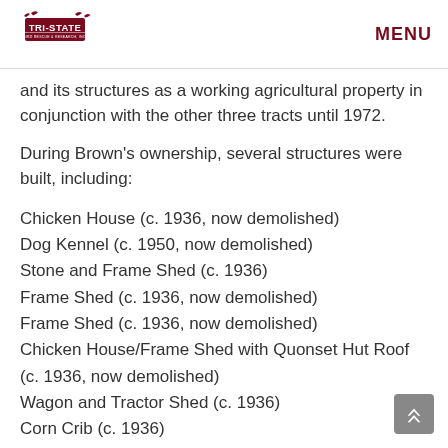TRI-STATE BIRD RESCUE & RESEARCH INC | MENU
and its structures as a working agricultural property in conjunction with the other three tracts until 1972.
During Brown's ownership, several structures were built, including:
Chicken House (c. 1936, now demolished)
Dog Kennel (c. 1950, now demolished)
Stone and Frame Shed (c. 1936)
Frame Shed (c. 1936, now demolished)
Frame Shed (c. 1936, now demolished)
Chicken House/Frame Shed with Quonset Hut Roof (c. 1936, now demolished)
Wagon and Tractor Shed (c. 1936)
Corn Crib (c. 1936)